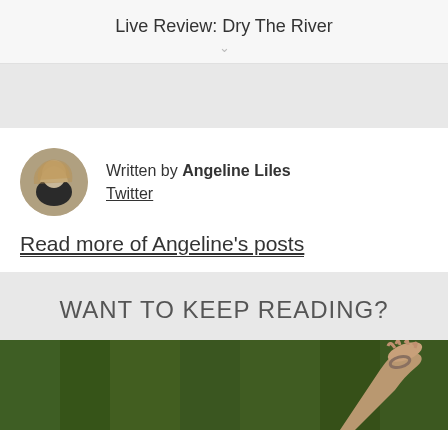Live Review: Dry The River
Written by Angeline Liles
Twitter
Read more of Angeline's posts
WANT TO KEEP READING?
[Figure (photo): Photograph of a person lying on green grass, arm outstretched upward]